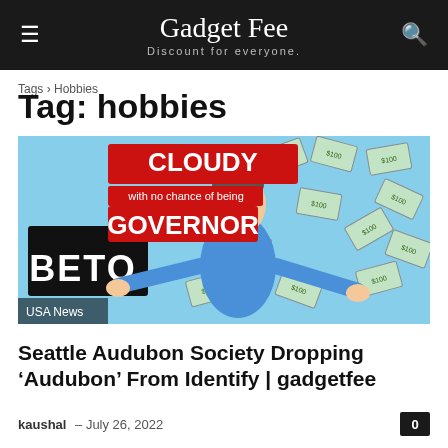Gadget Fee — Discount for everyone.
Tags › Hobbies
Tag: hobbies
[Figure (illustration): Political cartoon showing a caricature of Beto O'Rourke surrounded by flying hundred dollar bills, holding a 'BETO' sign, with text 'CLOUDY with no chance of being GOVERNOR'. USA News badge in lower left.]
Seattle Audubon Society Dropping 'Audubon' From Identify | gadgetfee
kaushal – July 26, 2022